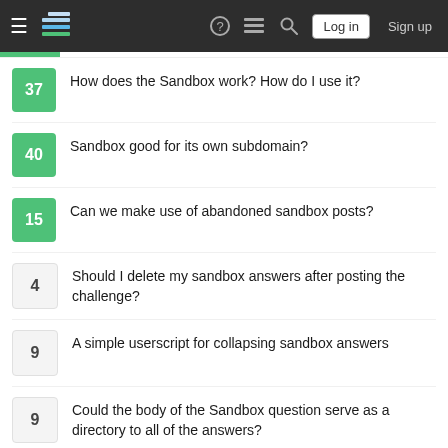Stack Exchange navigation bar with Log in and Sign up buttons
37 — How does the Sandbox work? How do I use it?
40 — Sandbox good for its own subdomain?
15 — Can we make use of abandoned sandbox posts?
4 — Should I delete my sandbox answers after posting the challenge?
9 — A simple userscript for collapsing sandbox answers
9 — Could the body of the Sandbox question serve as a directory to all of the answers?
Your privacy
By clicking "Accept all cookies", you agree Stack Exchange can store cookies on your device and disclose information in accordance with our Cookie Policy.
[Accept all cookies] [Customize settings]
Partially visible item at bottom